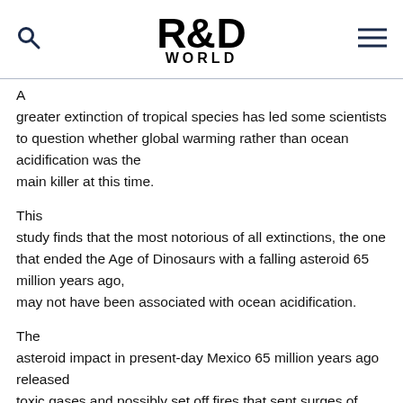R&D WORLD
A greater extinction of tropical species has led some scientists to question whether global warming rather than ocean acidification was the main killer at this time.
This study finds that the most notorious of all extinctions, the one that ended the Age of Dinosaurs with a falling asteroid 65 million years ago, may not have been associated with ocean acidification.
The asteroid impact in present-day Mexico 65 million years ago released toxic gases and possibly set off fires that sent surges of carbon